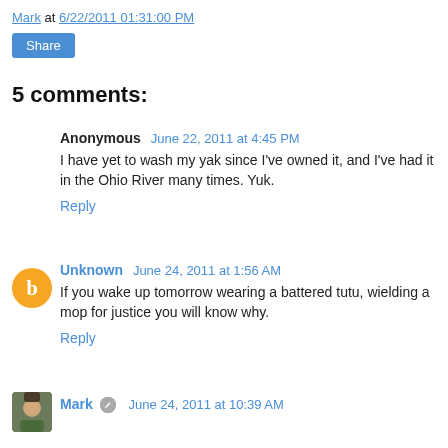Mark at 6/22/2011 01:31:00 PM
Share
5 comments:
Anonymous  June 22, 2011 at 4:45 PM
I have yet to wash my yak since I've owned it, and I've had it in the Ohio River many times. Yuk.
Reply
Unknown  June 24, 2011 at 1:56 AM
If you wake up tomorrow wearing a battered tutu, wielding a mop for justice you will know why.
Reply
Mark  June 24, 2011 at 10:39 AM